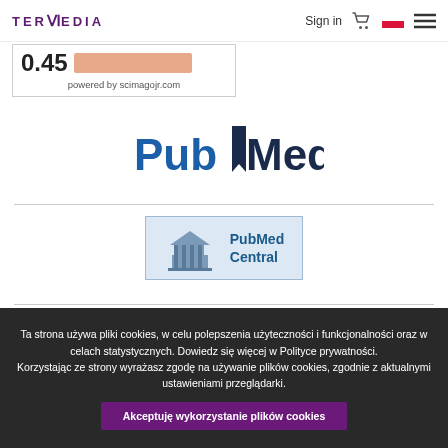TERMEDIA | Sign in | [cart] | [flag] | [menu]
[Figure (other): Scimago journal rank widget showing score 0.45 with a salmon-colored bar and 'powered by scimagojr.com' text]
[Figure (logo): PubMed logo in blue and dark text]
[Figure (logo): PubMed Central logo with building icon on blue/white badge]
Ta strona używa pliki cookies, w celu polepszenia użyteczności i funkcjonalności oraz w celach statystycznych. Dowiedz się więcej w Polityce prywatności.
Korzystając ze strony wyrażasz zgodę na używanie plików cookies, zgodnie z aktualnymi ustawieniami przeglądarki.
Akceptuję wykorzystanie plików cookies